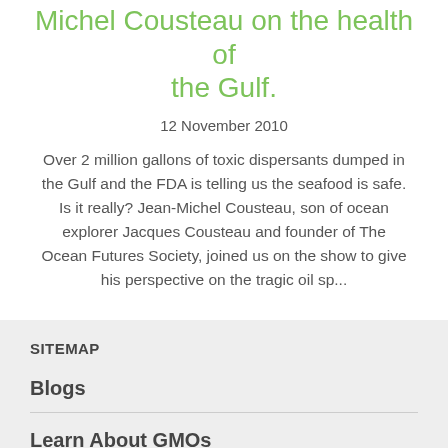Michel Cousteau on the health of the Gulf.
12 November 2010
Over 2 million gallons of toxic dispersants dumped in the Gulf and the FDA is telling us the seafood is safe. Is it really? Jean-Michel Cousteau, son of ocean explorer Jacques Cousteau and founder of The Ocean Futures Society, joined us on the show to give his perspective on the tragic oil sp...
SITEMAP
Blogs
Learn About GMOs